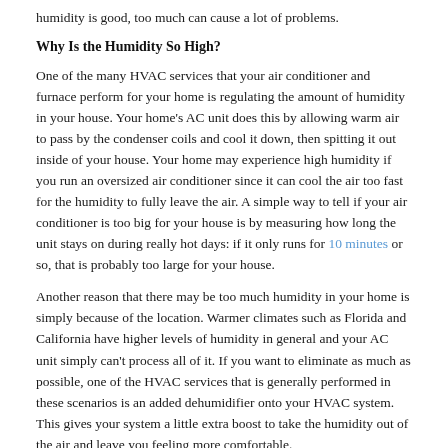humidity is good, too much can cause a lot of problems.
Why Is the Humidity So High?
One of the many HVAC services that your air conditioner and furnace perform for your home is regulating the amount of humidity in your house. Your home's AC unit does this by allowing warm air to pass by the condenser coils and cool it down, then spitting it out inside of your house. Your home may experience high humidity if you run an oversized air conditioner since it can cool the air too fast for the humidity to fully leave the air. A simple way to tell if your air conditioner is too big for your house is by measuring how long the unit stays on during really hot days: if it only runs for 10 minutes or so, that is probably too large for your house.
Another reason that there may be too much humidity in your home is simply because of the location. Warmer climates such as Florida and California have higher levels of humidity in general and your AC unit simply can't process all of it. If you want to eliminate as much as possible, one of the HVAC services that is generally performed in these scenarios is an added dehumidifier onto your HVAC system. This gives your system a little extra boost to take the humidity out of the air and leave you feeling more comfortable.
To learn more, contact local HVAC services.
Share